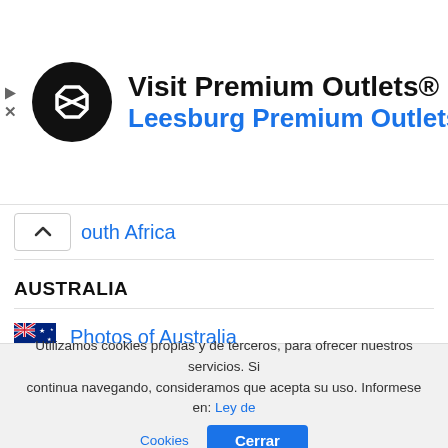[Figure (screenshot): Ad banner for Visit Premium Outlets - Leesburg Premium Outlets with black circular logo and blue navigation icon]
South Africa
AUSTRALIA
Photos of Australia
Utilizamos cookies propias y de terceros, para ofrecer nuestros servicios. Si continua navegando, consideramos que acepta su uso. Informese en: Ley de Cookies  Cerrar